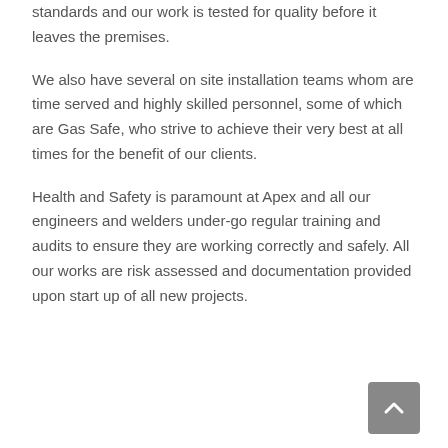standards and our work is tested for quality before it leaves the premises.
We also have several on site installation teams whom are time served and highly skilled personnel, some of which are Gas Safe, who strive to achieve their very best at all times for the benefit of our clients.
Health and Safety is paramount at Apex and all our engineers and welders under-go regular training and audits to ensure they are working correctly and safely. All our works are risk assessed and documentation provided upon start up of all new projects.